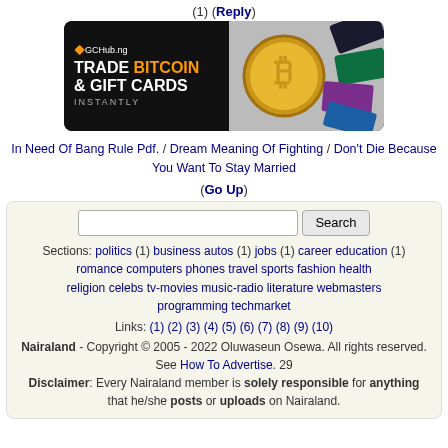(1) (Reply)
[Figure (illustration): GCHub.ng advertisement banner: Trade Bitcoin & Gift Cards Instantly, showing a bitcoin coin and gift cards on dark background]
In Need Of Bang Rule Pdf. / Dream Meaning Of Fighting / Don't Die Because You Want To Stay Married
(Go Up)
Search [input] [Search button]
Sections: politics (1) business autos (1) jobs (1) career education (1) romance computers phones travel sports fashion health religion celebs tv-movies music-radio literature webmasters programming techmarket
Links: (1) (2) (3) (4) (5) (6) (7) (8) (9) (10)
Nairaland - Copyright © 2005 - 2022 Oluwaseun Osewa. All rights reserved. See How To Advertise. 29
Disclaimer: Every Nairaland member is solely responsible for anything that he/she posts or uploads on Nairaland.